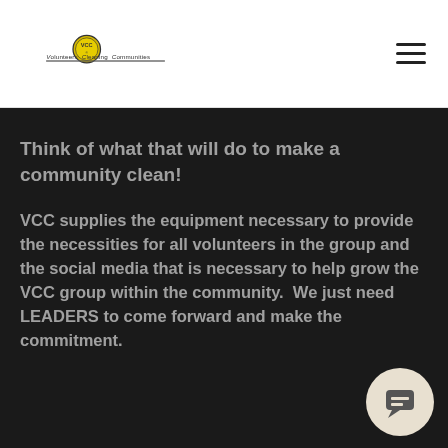[Figure (logo): Volunteers Cleaning Communities (VCC) logo with circular yellow badge icon and text]
Think of what that will do to make a community clean!
VCC supplies the equipment necessary to provide the necessities for all volunteers in the group and the social media that is necessary to help grow the VCC group within the community.  We just need LEADERS to come forward and make the commitment.